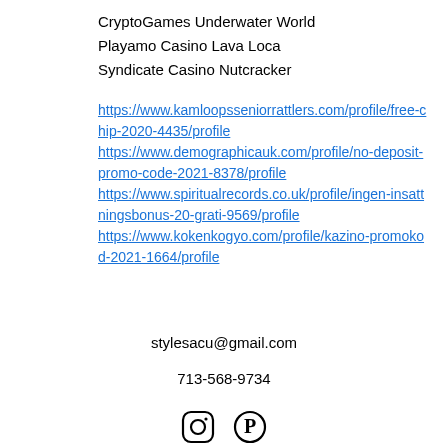CryptoGames Underwater World
Playamo Casino Lava Loca
Syndicate Casino Nutcracker
https://www.kamloopsseniorrattlers.com/profile/free-chip-2020-4435/profile
https://www.demographicauk.com/profile/no-deposit-promo-code-2021-8378/profile
https://www.spiritualrecords.co.uk/profile/ingen-insattningsbonus-20-grati-9569/profile
https://www.kokenkogyo.com/profile/kazino-promokod-2021-1664/profile
stylesacu@gmail.com
713-568-9734
[Figure (other): Instagram and Pinterest social media icons]